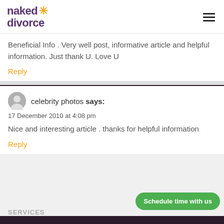naked divorce
Beneficial Info . Very well post, informative article and helpful information. Just thank U. Love U
Reply
celebrity photos says:
17 December 2010 at 4:08 pm
Nice and interesting article . thanks for helpful information
Reply
Schedule time with us
SERVICES